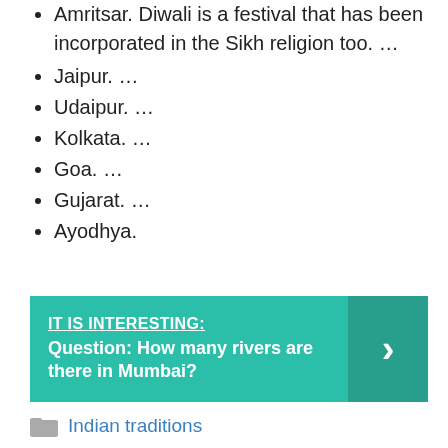Amritsar. Diwali is a festival that has been incorporated in the Sikh religion too. …
Jaipur. …
Udaipur. …
Kolkata. …
Goa. …
Gujarat. …
Ayodhya.
[Figure (infographic): Teal banner with 'IT IS INTERESTING:' header underlined, bold question text 'Question: How many rivers are there in Mumbai?' and a right-arrow chevron on the right side on a darker teal background.]
Indian traditions